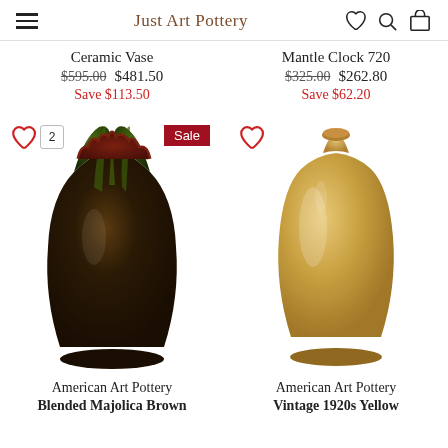Just Art Pottery
Ceramic Vase — $595.00 $481.50 Save $113.50
Mantle Clock 720 — $325.00 $262.80 Save $62.20
[Figure (photo): Dark glazed ceramic vase with green and brown tones, scalloped rim, American Art Pottery Blended Majolica Brown style, with Sale badge and count badge showing 2]
[Figure (photo): Smooth yellow/tan glazed ceramic vase with rounded body and short neck, American Art Pottery Vintage 1920s Yellow style]
American Art Pottery Blended Majolica Brown
American Art Pottery Vintage 1920s Yellow